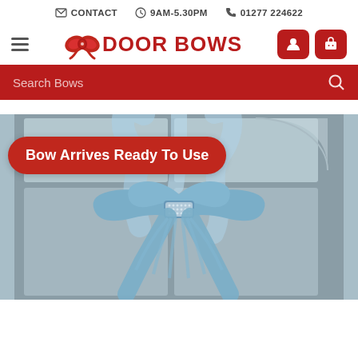CONTACT  9AM-5.30PM  01277 224622
[Figure (logo): Door Bows logo with red bow icon and red text 'DOOR BOWS', hamburger menu on left, user and cart icons on right]
Search Bows
[Figure (photo): Large light blue fabric door bow with diamond/rhinestone centre piece, displayed on a door with glass panels. Overlaid red pill badge reads 'Bow Arrives Ready To Use']